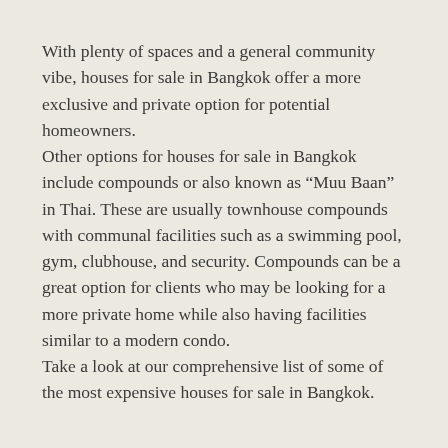With plenty of spaces and a general community vibe, houses for sale in Bangkok offer a more exclusive and private option for potential homeowners.
Other options for houses for sale in Bangkok include compounds or also known as “Muu Baan” in Thai. These are usually townhouse compounds with communal facilities such as a swimming pool, gym, clubhouse, and security. Compounds can be a great option for clients who may be looking for a more private home while also having facilities similar to a modern condo.
Take a look at our comprehensive list of some of the most expensive houses for sale in Bangkok.